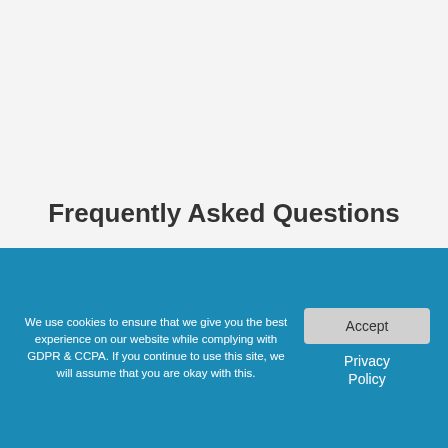Frequently Asked Questions
What Does An Eco-Friendly Union Gap Compost Supplier Do?
We use cookies to ensure that we give you the best experience on our website while complying with GDPR & CCPA. If you continue to use this site, we will assume that you are okay with this.